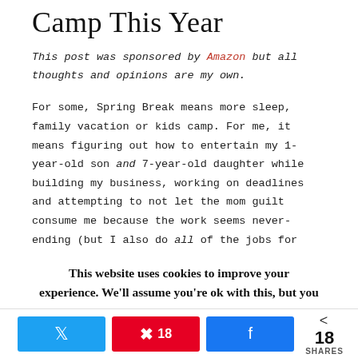Camp This Year
This post was sponsored by Amazon but all thoughts and opinions are my own.
For some, Spring Break means more sleep, family vacation or kids camp. For me, it means figuring out how to entertain my 1-year-old son and 7-year-old daughter while building my business, working on deadlines and attempting to not let the mom guilt consume me because the work seems never-ending (but I also do all of the jobs for this website and Navigating Postpartum, so
This website uses cookies to improve your experience. We'll assume you're ok with this, but you
Twitter share, Pinterest 18, Facebook share, < 18 SHARES